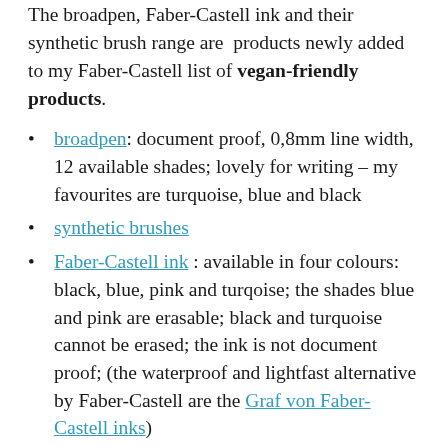The broadpen, Faber-Castell ink and their synthetic brush range are products newly added to my Faber-Castell list of vegan-friendly products.
broadpen: document proof, 0,8mm line width, 12 available shades; lovely for writing – my favourites are turquoise, blue and black
synthetic brushes
Faber-Castell ink : available in four colours: black, blue, pink and turqoise; the shades blue and pink are erasable; black and turquoise cannot be erased; the ink is not document proof; (the waterproof and lightfast alternative by Faber-Castell are the Graf von Faber-Castell inks)